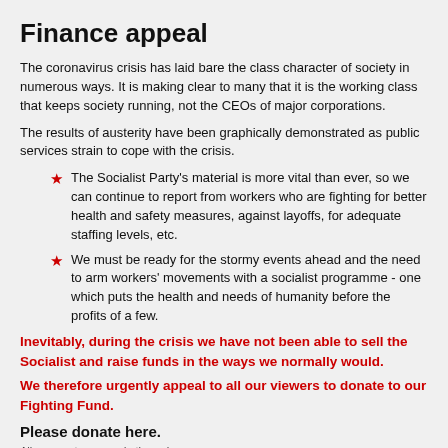Finance appeal
The coronavirus crisis has laid bare the class character of society in numerous ways. It is making clear to many that it is the working class that keeps society running, not the CEOs of major corporations.
The results of austerity have been graphically demonstrated as public services strain to cope with the crisis.
The Socialist Party's material is more vital than ever, so we can continue to report from workers who are fighting for better health and safety measures, against layoffs, for adequate staffing levels, etc.
We must be ready for the stormy events ahead and the need to arm workers' movements with a socialist programme - one which puts the health and needs of humanity before the profits of a few.
Inevitably, during the crisis we have not been able to sell the Socialist and raise funds in the ways we normally would.
We therefore urgently appeal to all our viewers to donate to our Fighting Fund.
Please donate here.
All payments are made through a secure server.
My donation
Your message: